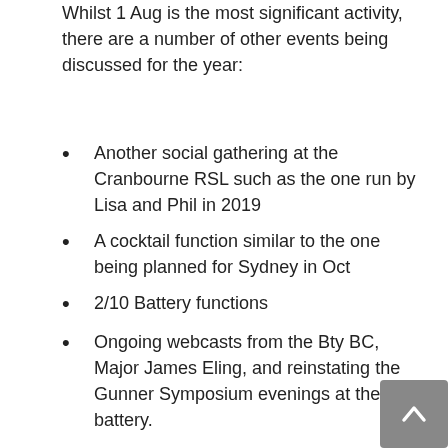Whilst 1 Aug is the most significant activity, there are a number of other events being discussed for the year:
Another social gathering at the Cranbourne RSL such as the one run by Lisa and Phil in 2019
A cocktail function similar to the one being planned for Sydney in Oct
2/10 Battery functions
Ongoing webcasts from the Bty BC, Major James Eling, and reinstating the Gunner Symposium evenings at the battery.
Unveiling of the 12lb Armstrong Gun by the Werribee Half Battery on 12 Sept.
Hopefully a dinner/St. Barbara's Day event at the end of the year.